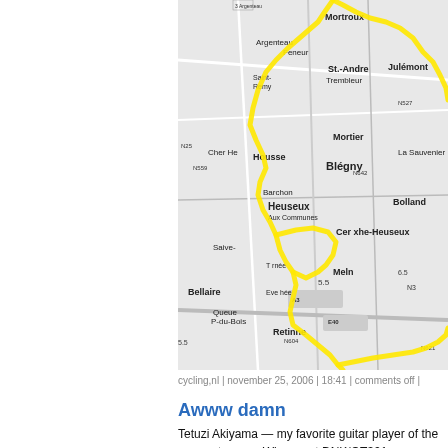[Figure (map): Grayscale road map of the Blégny/Heuseux/Mortroux area in Belgium with a yellow highlighted cycling route drawn over roads]
cycling,nl | november 25, 2006 | 18:41 | comments off |
Awww damn
Tetuzi Akiyama — my favorite guitar player of the moment — van Wissem at DNK/OT301 on monday. I've known this sinc